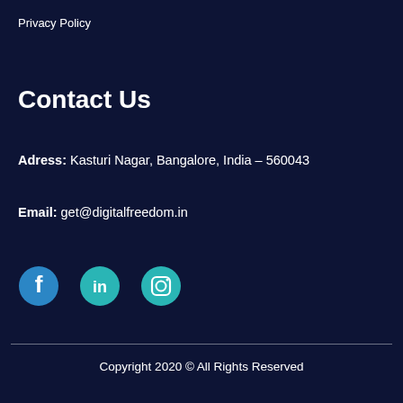Privacy Policy
Contact Us
Adress: Kasturi Nagar, Bangalore, India – 560043
Email: get@digitalfreedom.in
[Figure (infographic): Social media icons: Facebook, LinkedIn, Instagram in teal/cyan color]
Copyright 2020 © All Rights Reserved